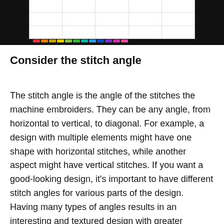[Figure (screenshot): Screenshot of an embroidery software interface showing a spreadsheet-like grid view with a dark background and a row of colored swatches at the bottom left.]
Consider the stitch angle
The stitch angle is the angle of the stitches the machine embroiders. They can be any angle, from horizontal to vertical, to diagonal. For example, a design with multiple elements might have one shape with horizontal stitches, while another aspect might have vertical stitches. If you want a good-looking design, it's important to have different stitch angles for various parts of the design. Having many types of angles results in an interesting and textured design with greater contrast between different elements.